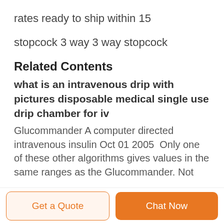rates ready to ship within 15
stopcock 3 way 3 way stopcock
Related Contents
what is an intravenous drip with pictures disposable medical single use drip chamber for iv
Glucommander A computer directed intravenous insulin Oct 01 2005  Only one of these other algorithms gives values in the same ranges as the Glucommander. Not
Get a Quote
Chat Now